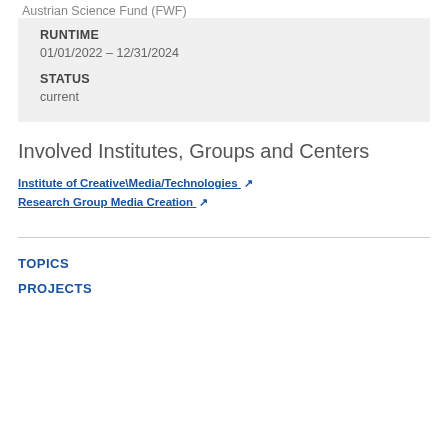Austrian Science Fund (FWF)
RUNTIME
01/01/2022 – 12/31/2024
STATUS
current
Involved Institutes, Groups and Centers
Institute of Creative\Media/Technologies ↗
Research Group Media Creation ↗
TOPICS
PROJECTS